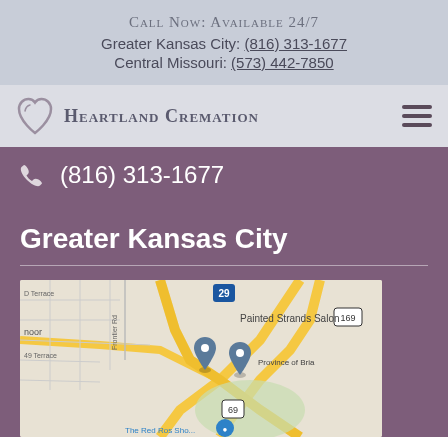Call Now: Available 24/7
Greater Kansas City: (816) 313-1677
Central Missouri: (573) 442-7850
[Figure (logo): Heartland Cremation logo with heart icon and company name in small caps]
(816) 313-1677
Greater Kansas City
[Figure (map): Google Maps screenshot showing Greater Kansas City area with map pins near Painted Strands Salon and Province of Bria, highways 29, 169, and 69 visible]